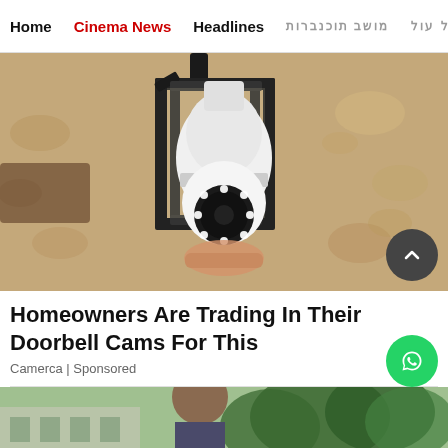Home | Cinema News | Headlines | [foreign text] | [foreign text]
[Figure (photo): A security camera shaped like a light bulb installed in an outdoor black metal lantern fixture mounted on a textured stucco wall. The camera has a white spherical body with a circular lens array at the bottom with visible LED lights.]
Homeowners Are Trading In Their Doorbell Cams For This
Camerca | Sponsored
[Figure (photo): Bottom portion of a photo showing a person outdoors with trees in the background.]